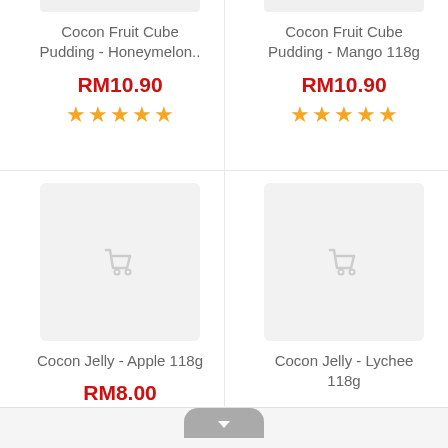[Figure (screenshot): Product listing screenshot of an e-commerce grocery app showing 4 product cards in a 2-column grid]
Cocon Fruit Cube Pudding - Honeymelon..
RM10.90
★★★★★
Cocon Fruit Cube Pudding - Mango 118g
RM10.90
★★★★★
Cocon Jelly - Apple 118g
RM8.00
★★★★★
Cocon Jelly - Lychee 118g
RM8.00
★★★★★